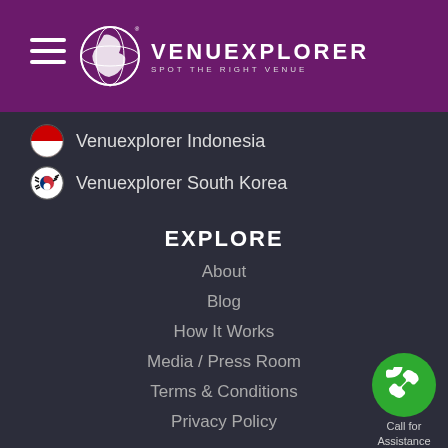VENUEXPLORER SPOT THE RIGHT VENUE
Venuexplorer Indonesia
Venuexplorer South Korea
EXPLORE
About
Blog
How It Works
Media / Press Room
Terms & Conditions
Privacy Policy
FOLLOW US
[Figure (other): Green circular phone/call button with 'Call for Assistance' label]